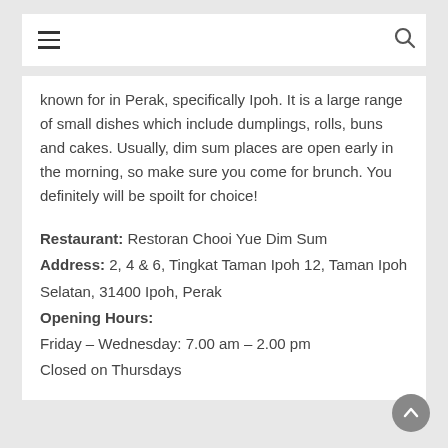≡  🔍
known for in Perak, specifically Ipoh. It is a large range of small dishes which include dumplings, rolls, buns and cakes. Usually, dim sum places are open early in the morning, so make sure you come for brunch. You definitely will be spoilt for choice!
Restaurant: Restoran Chooi Yue Dim Sum
Address: 2, 4 & 6, Tingkat Taman Ipoh 12, Taman Ipoh Selatan, 31400 Ipoh, Perak
Opening Hours:
Friday – Wednesday: 7.00 am – 2.00 pm
Closed on Thursdays